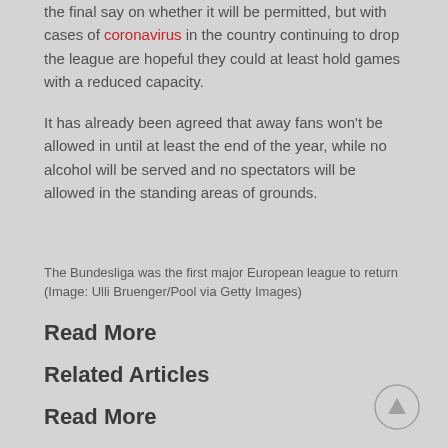the final say on whether it will be permitted, but with cases of coronavirus in the country continuing to drop the league are hopeful they could at least hold games with a reduced capacity.
It has already been agreed that away fans won't be allowed in until at least the end of the year, while no alcohol will be served and no spectators will be allowed in the standing areas of grounds.
The Bundesliga was the first major European league to return (Image: Ulli Bruenger/Pool via Getty Images)
Read More
Related Articles
Read More